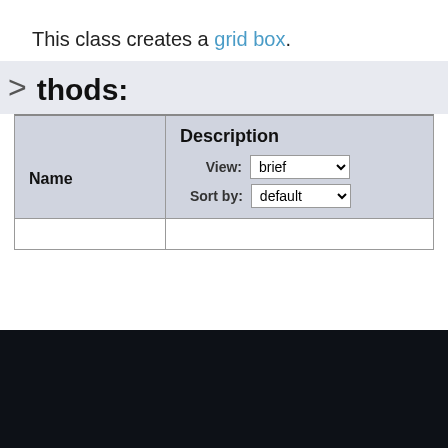This class creates a grid box.
thods:
| Name | Description |
| --- | --- |
|  |  |
[Figure (screenshot): Dark navigation/footer section with an orange button element in the lower right area]